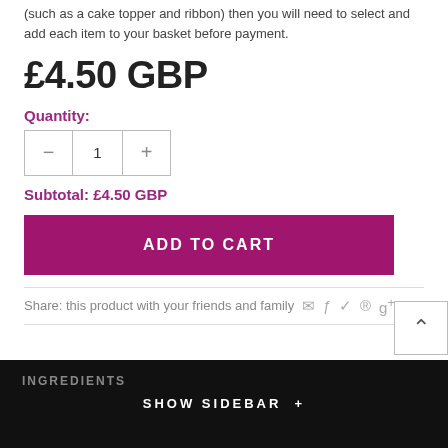(such as a cake topper and ribbon) then you will need to select and add each item to your basket before payment.
£4.50 GBP
Quantity:
Subtotal: £4.50 GBP
ADD TO CART
Share: this product with your friends and family
INGREDIENTS
SHOW SIDEBAR +